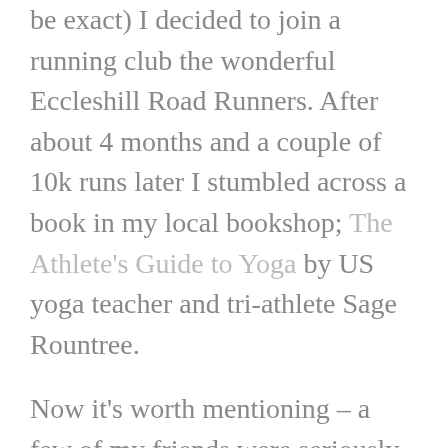be exact) I decided to join a running club the wonderful Eccleshill Road Runners. After about 4 months and a couple of 10k runs later I stumbled across a book in my local bookshop; The Athlete's Guide to Yoga by US yoga teacher and tri-athlete Sage Rountree.
Now it's worth mentioning – a few of my friends were seriously into yoga and one of them was even a teacher, however, I didn't think that yoga was for me and had discounted it. You know the usual: I'm not